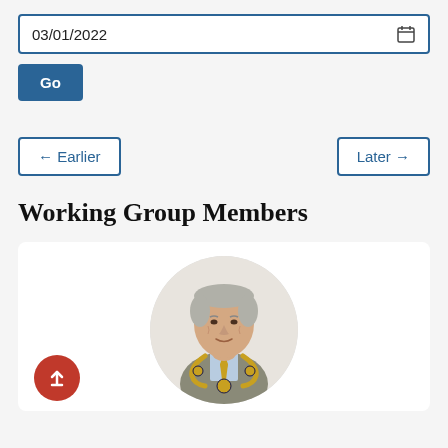03/01/2022
Go
← Earlier
Later →
Working Group Members
[Figure (photo): Circular portrait photo of an elderly man wearing a grey suit jacket, light blue shirt, gold and black chain of office (mayoral chain), and a gold patterned tie. He is smiling slightly against a white/light background.]